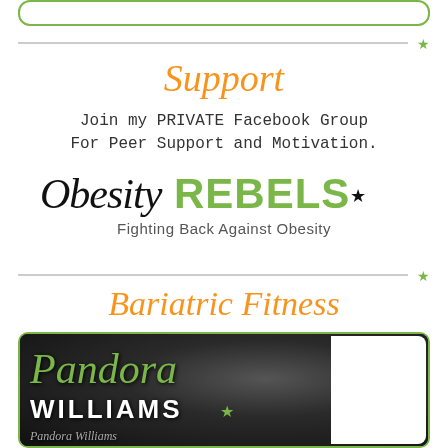Support
Join my PRIVATE Facebook Group For Peer Support and Motivation.
[Figure (logo): Obesity REBELS logo with tagline 'Fighting Back Against Obesity']
Bariatric Fitness
[Figure (illustration): Pandora Williams branding image with green script name on dark background]